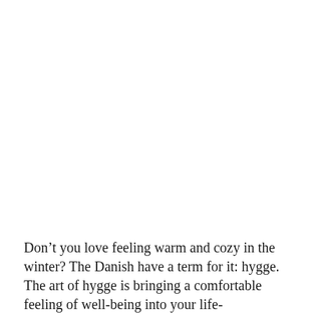Don’t you love feeling warm and cozy in the winter? The Danish have a term for it: hygge. The art of hygge is bringing a comfortable feeling of well-being into your life-